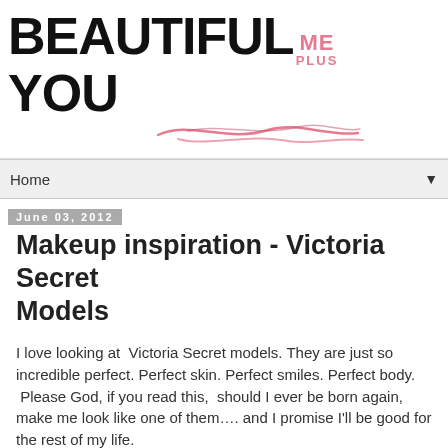[Figure (logo): BEAUTIFUL ME PLUS YOU blog logo with large black bold text and pink 'ME PLUS' small text, with a pink lipstick signature scribble below]
Home ▼
June 03, 2012
Makeup inspiration - Victoria Secret Models
I love looking at  Victoria Secret models. They are just so incredible perfect. Perfect skin. Perfect smiles. Perfect body.  Please God, if you read this,  should I ever be born again, make me look like one of them…. and I promise I'll be good for the rest of my life.
Anyways, enough of daydreaming and wishful thinking, here is the tutorial to get the Victoria Secret glam look